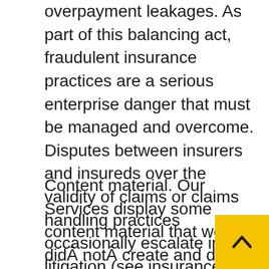overpayment leakages. As part of this balancing act, fraudulent insurance practices are a serious enterprise danger that must be managed and overcome. Disputes between insurers and insureds over the validity of claims or claims handling practices occasionally escalate into litigation (see insurance bad faith ).
Content material. Our Services display some content material that we didÂ notÂ create and don’t personal. This content material is the only responsibility of the entity or person that makes it obtainable.Â WeÂ assumeÂ no accountability for the conduct of third events, including individuals or entities with which you communicate using the Services. Many of the Providers enable you to submit content material. You – not Verizon MediaÂ – are fully liable for any content material that you add, put up, electronic mail, transmit, or otherwise make out there by way of the Companies. We might take away and refuse display content that violates the Phrases or applicable legal guidelines or rules, however that does not imply that we monitor the Companies or evaluate or display any